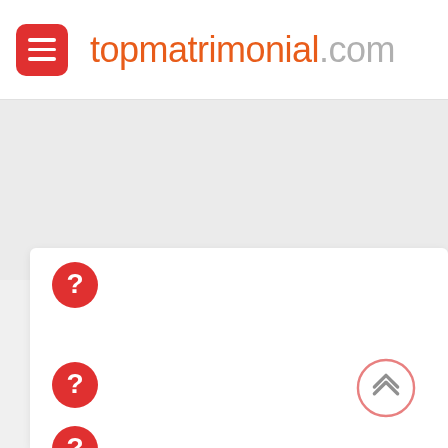topmatrimonial.com
[Figure (screenshot): Website screenshot of topmatrimonial.com showing a header with hamburger menu button, site name, a gray banner area, and a white content card with red question mark icons and a scroll-to-top button]